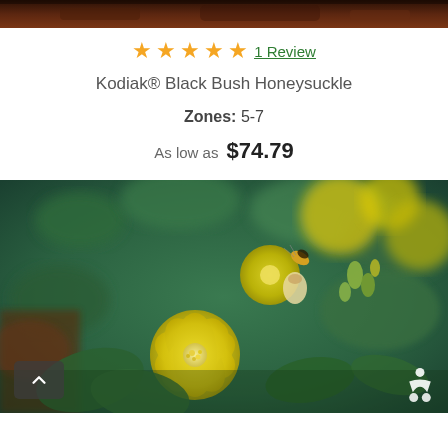[Figure (photo): Top partial photo strip — dark reddish-brown tones, partial view of plant/bark]
★★★★★ 1 Review
Kodiak® Black Bush Honeysuckle
Zones: 5-7
As low as  $74.79
[Figure (photo): Close-up photo of bright yellow Kodiak Black Bush Honeysuckle flowers with green foliage and a bee, on a green blurred background]